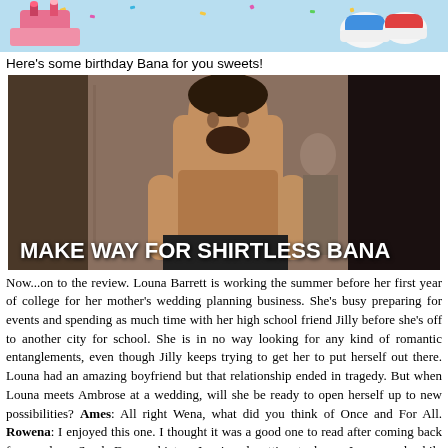[Figure (photo): Top banner image with birthday decorations on light blue background]
Here's some birthday Bana for you sweets!
[Figure (photo): Shirtless man (Eric Bana) standing in a dimly lit room, with bold white text overlay reading MAKE WAY FOR SHIRTLESS BANA]
Now...on to the review. Louna Barrett is working the summer before her first year of college for her mother's wedding planning business. She's busy preparing for events and spending as much time with her high school friend Jilly before she's off to another city for school. She is in no way looking for any kind of romantic entanglements, even though Jilly keeps trying to get her to put herself out there. Louna had an amazing boyfriend but that relationship ended in tragedy. But when Louna meets Ambrose at a wedding, will she be ready to open herself up to new possibilities? Ames: All right Wena, what did you think of Once and For All. Rowena: I enjoyed this one. I thought it was a good one to read after coming back from a long Sarah Dessen hiatus. I enjoyed getting to know Louna and while Ambrose was a bit much at times (all of that girl juggling), I still really liked him as a character. I thought he was good for Louna too. The bet was fun and meant to get them both out of their comfort zone, but...